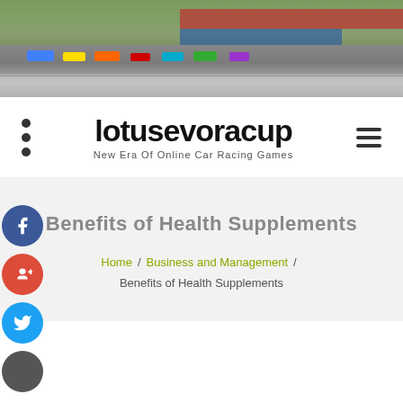[Figure (photo): Race track header image showing cars lined up with crowd and track in background]
lotusevoracup — New Era Of Online Car Racing Games
Benefits of Health Supplements
Home / Business and Management / Benefits of Health Supplements